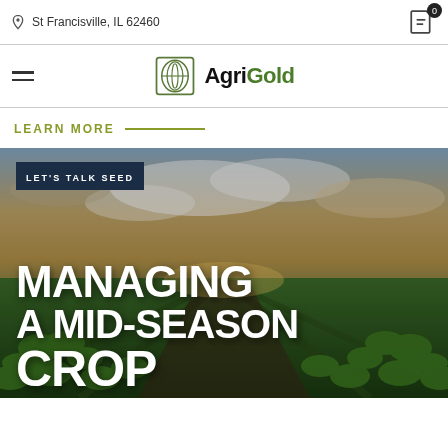St Francisville, IL 62460
[Figure (logo): AgriGold logo with circular seed/leaf icon and bold AgriGold wordmark]
LEARN MORE
[Figure (photo): Agricultural field with green corn crops at mid-season, dramatic sky with clouds. Overlay text reads: LET'S TALK SEED / MANAGING A MID-SEASON CROP]